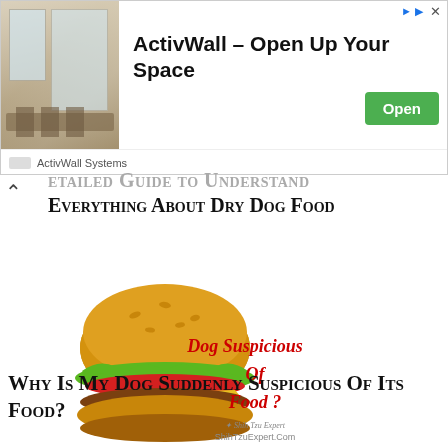[Figure (screenshot): Advertisement banner for ActivWall Systems featuring an interior room photo, headline 'ActivWall – Open Up Your Space', and a green 'Open' button]
ETAILED GUIDE TO UNDERSTAND EVERYTHING ABOUT DRY DOG FOOD
[Figure (illustration): Cartoon hamburger with text overlay 'Dog Suspicious Of Food?' in red cursive script, with ShihTzuExpert.Com branding below]
Why Is My Dog Suddenly Suspicious Of Its Food?